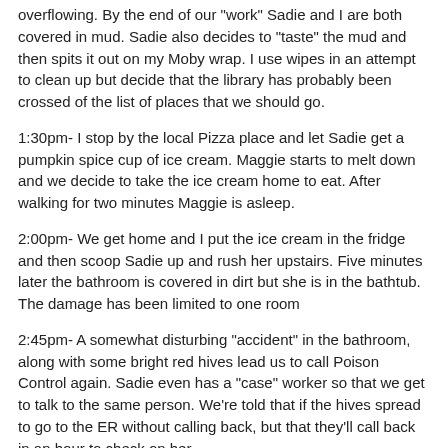overflowing. By the end of our 'work' Sadie and I are both covered in mud. Sadie also decides to "taste" the mud and then spits it out on my Moby wrap. I use wipes in an attempt to clean up but decide that the library has probably been crossed of the list of places that we should go.
1:30pm- I stop by the local Pizza place and let Sadie get a pumpkin spice cup of ice cream. Maggie starts to melt down and we decide to take the ice cream home to eat. After walking for two minutes Maggie is asleep.
2:00pm- We get home and I put the ice cream in the fridge and then scoop Sadie up and rush her upstairs. Five minutes later the bathroom is covered in dirt but she is in the bathtub. The damage has been limited to one room
2:45pm- A somewhat disturbing "accident" in the bathroom, along with some bright red hives lead us to call Poison Control again. Sadie even has a "case" worker so that we get to talk to the same person. We're told that if the hives spread to go to the ER without calling back, but that they'll call back in an hour to check on her.